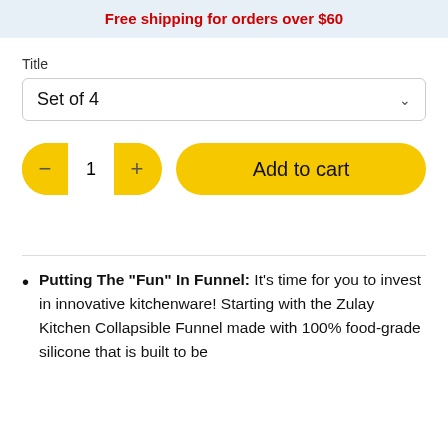Free shipping for orders over $60
Title
Set of 4
[Figure (other): Quantity selector control with minus and plus buttons showing value 1, and an Add to cart button, both styled in yellow with rounded pill shape]
Putting The "Fun" In Funnel: It's time for you to invest in innovative kitchenware! Starting with the Zulay Kitchen Collapsible Funnel made with 100% food-grade silicone that is built to be